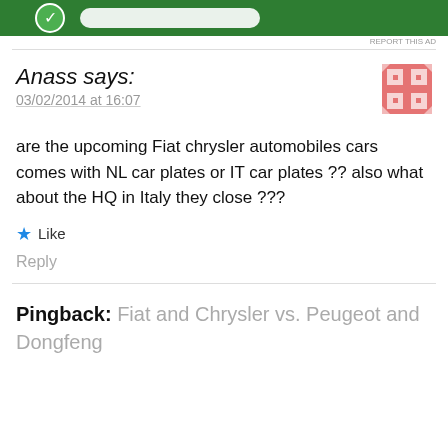[Figure (other): Green advertisement banner at top of page]
REPORT THIS AD
Anass says:
03/02/2014 at 16:07
[Figure (other): Pink and white avatar/gravatar image with geometric pattern]
are the upcoming Fiat chrysler automobiles cars comes with NL car plates or IT car plates ?? also what about the HQ in Italy they close ???
Like
Reply
Pingback: Fiat and Chrysler vs. Peugeot and Dongfeng